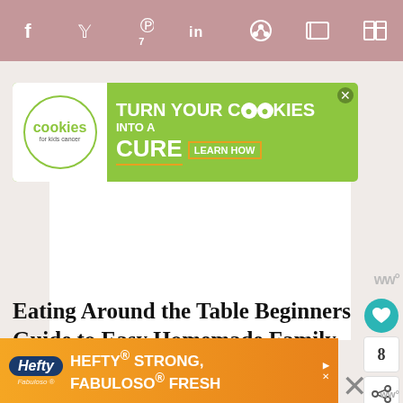Social sharing bar with icons: Facebook, Twitter, Pinterest (7), LinkedIn, Reddit, Flipboard, Mix
[Figure (infographic): Cookies for Kids Cancer advertisement banner: green background with white cookies logo circle on left, text 'turn your COOKIES into a CURE LEARN HOW' on right]
[Figure (screenshot): WW (Weight Watchers) logo watermark in grey]
[Figure (infographic): Sidebar with teal heart button, count of 8, and share icon button]
Eating Around the Table Beginners Guide to Easy Homemade Family Dinners
[Figure (infographic): Hefty/Fabuloso advertisement banner: orange gradient background with Hefty logo, text 'HEFTY STRONG, FABULOSO FRESH']